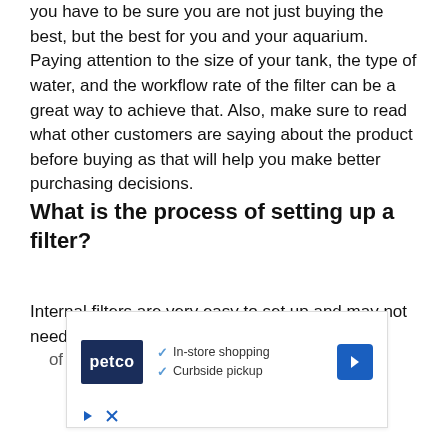you have to be sure you are not just buying the best, but the best for you and your aquarium. Paying attention to the size of your tank, the type of water, and the workflow rate of the filter can be a great way to achieve that. Also, make sure to read what other customers are saying about the product before buying as that will help you make better purchasing decisions.
What is the process of setting up a filter?
Internal filters are very easy to set up and may not need any instructional manual even though some of them come with it. Not without reading the
[Figure (other): Petco advertisement banner showing Petco logo with checkmarks for In-store shopping and Curbside pickup, and a blue directional arrow icon]